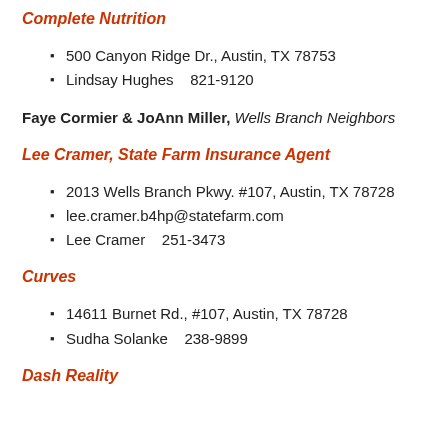Complete Nutrition
500 Canyon Ridge Dr., Austin, TX 78753
Lindsay Hughes    821-9120
Faye Cormier & JoAnn Miller, Wells Branch Neighbors
Lee Cramer, State Farm Insurance Agent
2013 Wells Branch Pkwy. #107, Austin, TX 78728
lee.cramer.b4hp@statefarm.com
Lee Cramer   251-3473
Curves
14611 Burnet Rd., #107, Austin, TX 78728
Sudha Solanke    238-9899
Dash Reality